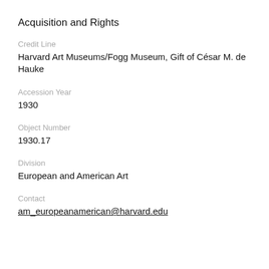Acquisition and Rights
Credit Line
Harvard Art Museums/Fogg Museum, Gift of César M. de Hauke
Accession Year
1930
Object Number
1930.17
Division
European and American Art
Contact
am_europeanamerican@harvard.edu